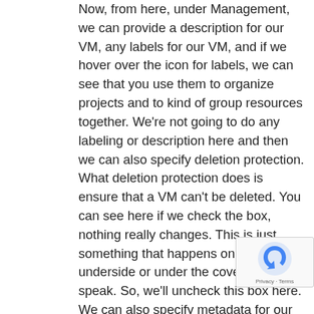Now, from here, under Management, we can provide a description for our VM, any labels for our VM, and if we hover over the icon for labels, we can see that you use them to organize projects and to kind of group resources together. We're not going to do any labeling or description here and then we can also specify deletion protection. What deletion protection does is ensure that a VM can't be deleted. You can see here if we check the box, nothing really changes. This is just something that happens on the underside or under the covers, so to speak. So, we'll uncheck this box here. We can also specify metadata for our VM and then under availability policy, we can specify premptability, on-host maintenance, and automatic restart. Now, that being said, a pre-emptible VM, although it's going to be cheaper, will only last for 24 hours. And, essentially, it can be terminated if system demand need that. This option might be good for